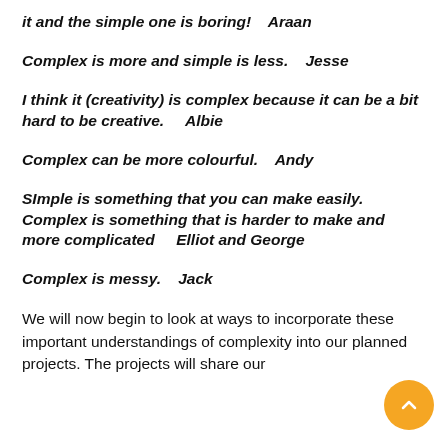it and the simple one is boring!    Araan
Complex is more and simple is less.    Jesse
I think it (creativity) is complex because it can be a bit hard to be creative.    Albie
Complex can be more colourful.    Andy
SImple is something that you can make easily. Complex is something that is harder to make and more complicated    Elliot and George
Complex is messy.    Jack
We will now begin to look at ways to incorporate these important understandings of complexity into our planned projects. The projects will share our